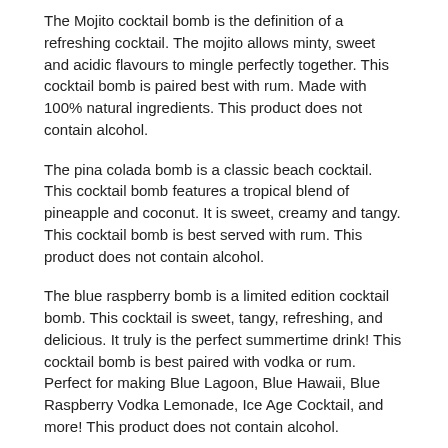The Mojito cocktail bomb is the definition of a refreshing cocktail. The mojito allows minty, sweet and acidic flavours to mingle perfectly together. This cocktail bomb is paired best with rum. Made with 100% natural ingredients. This product does not contain alcohol.
The pina colada bomb is a classic beach cocktail. This cocktail bomb features a tropical blend of pineapple and coconut. It is sweet, creamy and tangy. This cocktail bomb is best served with rum. This product does not contain alcohol.
The blue raspberry bomb is a limited edition cocktail bomb. This cocktail is sweet, tangy, refreshing, and delicious. It truly is the perfect summertime drink! This cocktail bomb is best paired with vodka or rum. Perfect for making Blue Lagoon, Blue Hawaii, Blue Raspberry Vodka Lemonade, Ice Age Cocktail, and more! This product does not contain alcohol.
[Figure (other): Social sharing buttons: Facebook SHARE, Twitter TWEET, Pinterest PIN IT]